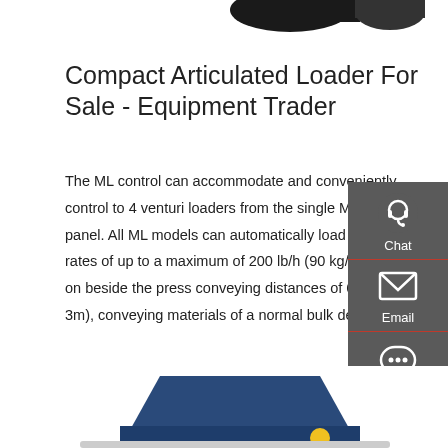[Figure (photo): Partial view of compact articulated loader equipment at the top of the page]
Compact Articulated Loader For Sale - Equipment Trader
The ML control can accommodate and conveniently control to 4 venturi loaders from the single ML control panel. All ML models can automatically load material at rates of up to a maximum of 200 lb/h (90 kg/h), based on beside the press conveying distances of 6 to 9ft (2 to 3m), conveying materials of a normal bulk density.
[Figure (infographic): Side panel with Chat, Email, and Contact icons on dark grey background]
Get a quote
[Figure (photo): Partial view of blue compact loader bucket at the bottom of the page]